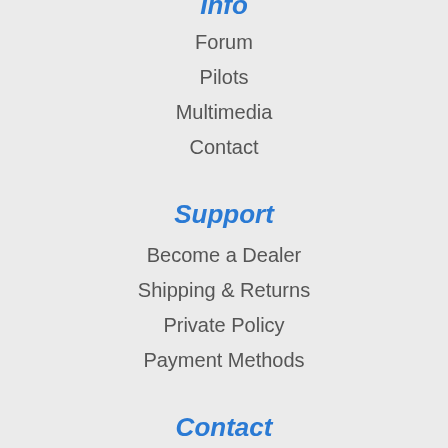Info
Forum
Pilots
Multimedia
Contact
Support
Become a Dealer
Shipping & Returns
Private Policy
Payment Methods
Contact
Customer Service:
spotonrc1@263.net